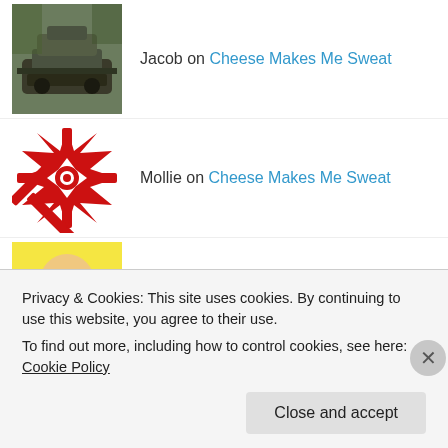Jacob on Cheese Makes Me Sweat
Mollie on Cheese Makes Me Sweat
Tony McGurk on Meta 3 +1 Speaking
Ted on Cheese Makes Me Sweat
cody on Cheese Makes Me Sweat
Privacy & Cookies: This site uses cookies. By continuing to use this website, you agree to their use. To find out more, including how to control cookies, see here: Cookie Policy